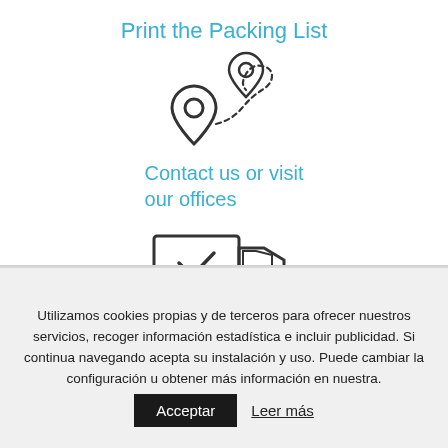Print the Packing List
[Figure (illustration): Two map pin/location icons connected by a dashed curved path, representing route or navigation]
Contact us or visit our offices
[Figure (illustration): Delivery truck icon with a checkmark on the cargo area and speed lines, representing shipping or delivery]
Utilizamos cookies propias y de terceros para ofrecer nuestros servicios, recoger información estadística e incluir publicidad. Si continua navegando acepta su instalación y uso. Puede cambiar la configuración u obtener más información en nuestra.
Acceptar
Leer más